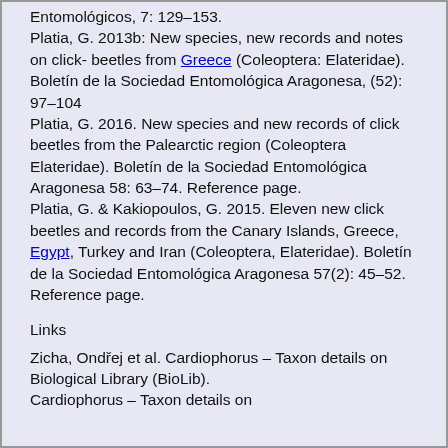Entomológicos, 7: 129–153. Platia, G. 2013b: New species, new records and notes on click- beetles from Greece (Coleoptera: Elateridae). Boletín de la Sociedad Entomológica Aragonesa, (52): 97–104 Platia, G. 2016. New species and new records of click beetles from the Palearctic region (Coleoptera Elateridae). Boletín de la Sociedad Entomológica Aragonesa 58: 63–74. Reference page. Platia, G. & Kakiopoulos, G. 2015. Eleven new click beetles and records from the Canary Islands, Greece, Egypt, Turkey and Iran (Coleoptera, Elateridae). Boletín de la Sociedad Entomológica Aragonesa 57(2): 45–52. Reference page.
Links
Zicha, Ondřej et al. Cardiophorus – Taxon details on Biological Library (BioLib). Cardiophorus – Taxon details on